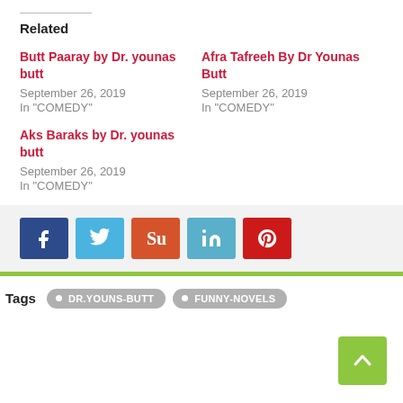Related
Butt Paaray by Dr. younas butt
September 26, 2019
In "COMEDY"
Afra Tafreeh By Dr Younas Butt
September 26, 2019
In "COMEDY"
Aks Baraks by Dr. younas butt
September 26, 2019
In "COMEDY"
[Figure (other): Social share buttons: Facebook, Twitter, StumbleUpon, LinkedIn, Pinterest]
Tags  DR.YOUNS-BUTT  FUNNY-NOVELS